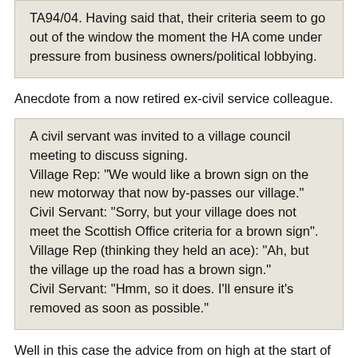TA94/04. Having said that, their criteria seem to go out of the window the moment the HA come under pressure from business owners/political lobbying.
Anecdote from a now retired ex-civil service colleague.
A civil servant was invited to a village council meeting to discuss signing.
Village Rep: "We would like a brown sign on the new motorway that now by-passes our village."
Civil Servant: "Sorry, but your village does not meet the Scottish Office criteria for a brown sign".
Village Rep (thinking they held an ace): "Ah, but the village up the road has a brown sign."
Civil Servant: "Hmm, so it does. I'll ensure it's removed as soon as possible."
Well in this case the advice from on high at the start of the project was "use the DMRB criteria only, ignore what is or isn't there now".
Unfortunately, as soon as some letters were written this changed to "just put back what was there already", after the design was